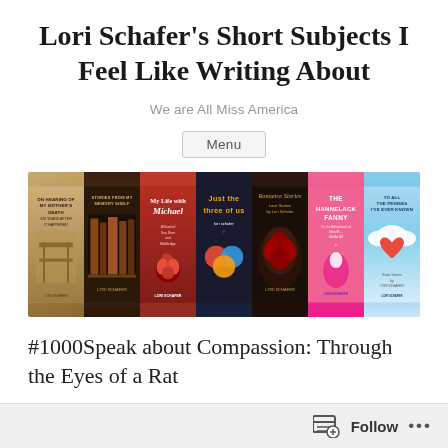Lori Schafer's Short Subjects I Feel Like Writing About
We are All Miss America
Menu
[Figure (illustration): A horizontal strip of seven book covers by Lori Schafer: 'On Hearing of My Mother's Death Six Years After It Happened', 'Stories from My Memory Shelf', 'My Life with Michael', 'Just the Three of Us', 'Romance Stories: Love Stories by Lori Schafer', 'The Hannelack Fanny', 'To All the Penises I've Ever Known']
#1000Speak about Compassion: Through the Eyes of a Rat